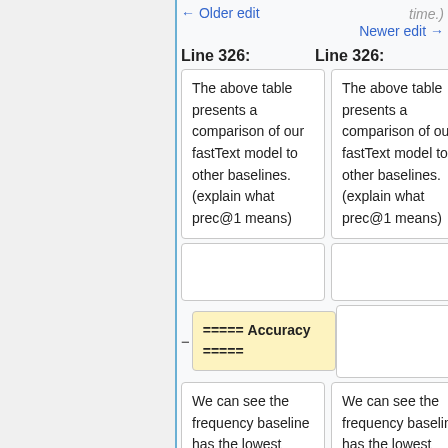← Older edit
time.) Newer edit →
Line 326:
Line 326:
The above table presents a comparison of our fastText model to other baselines. (explain what prec@1 means)
The above table presents a comparison of our fastText model to other baselines. (explain what prec@1 means)
===== Accuracy =====
We can see the frequency baseline has the lowest accuracy. On running
We can see the frequency baseline has the lowest accuracy. On running